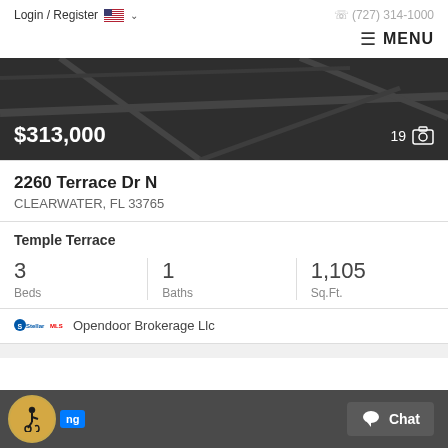Login / Register  🇺🇸 ∨    ☎ (727) 314-1000
≡ MENU
[Figure (screenshot): Dark map background panel showing street outlines, with listing price $313,000 on the bottom left and photo count 19 with camera icon on the bottom right.]
2260 Terrace Dr N
CLEARWATER, FL 33765
Temple Terrace
| Beds | Baths | Sq.Ft. |
| --- | --- | --- |
| 3 | 1 | 1,105 |
Opendoor Brokerage Llc
ng  Chat